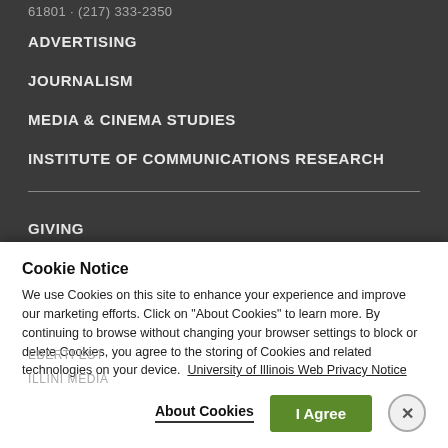61801 · (217) 333-2350
ADVERTISING
JOURNALISM
MEDIA & CINEMA STUDIES
INSTITUTE OF COMMUNICATIONS RESEARCH
GIVING
STUDENT SERVICES
FOR FACULTY & STAFF
STRATEGIC PLAN
DIVERSITY, EQUITY & INCLUSION
EBERTFEST
ILLINI MEDIA
Cookie Notice
We use Cookies on this site to enhance your experience and improve our marketing efforts. Click on "About Cookies" to learn more. By continuing to browse without changing your browser settings to block or delete Cookies, you agree to the storing of Cookies and related technologies on your device. University of Illinois Web Privacy Notice